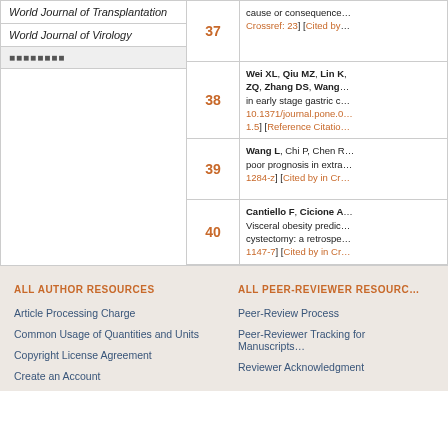World Journal of Transplantation
World Journal of Virology
■■■■■■■■
| # | Reference |
| --- | --- |
| 37 | cause or consequence... Crossref: 23] [Cited by... |
| 38 | Wei XL, Qiu MZ, Lin K, ZQ, Zhang DS, Wang... in early stage gastric c... 10.1371/journal.pone.0... 1.5] [Reference Citatio... |
| 39 | Wang L, Chi P, Chen R... poor prognosis in extra... 1284-z] [Cited by in Cr... |
| 40 | Cantiello F, Cicione A... Visceral obesity predic... cystectomy: a retrospe... 1147-7] [Cited by in Cr... |
ALL AUTHOR RESOURCES
Article Processing Charge
Common Usage of Quantities and Units
Copyright License Agreement
Create an Account
ALL PEER-REVIEWER RESOURCES
Peer-Review Process
Peer-Reviewer Tracking for Manuscripts
Reviewer Acknowledgment